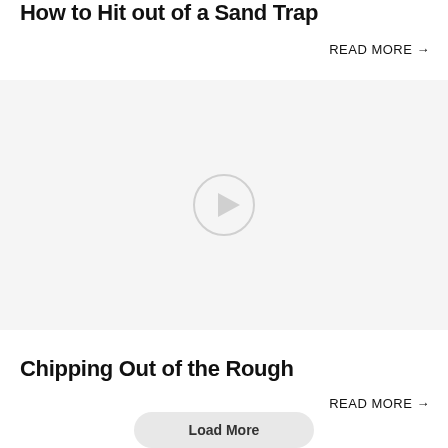How to Hit out of a Sand Trap
READ MORE →
[Figure (other): Video thumbnail placeholder with a light gray background and a circular play button icon in the center]
Chipping Out of the Rough
READ MORE →
Load More